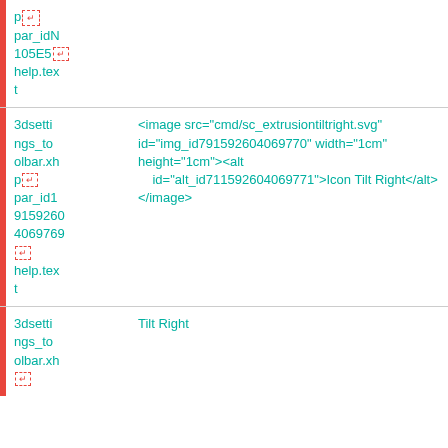p [return] par_idN 105E5 [return] help.text
3dsettings_toolbar.xhp par_id19159260 4069769 [return] help.text
<image src="cmd/sc_extrusiontiltright.svg" id="img_id791592604069770" width="1cm" height="1cm"><alt id="alt_id711592604069771">Icon Tilt Right</alt> </antml:image>
3dsettings_toolbar.xhp
Tilt Right